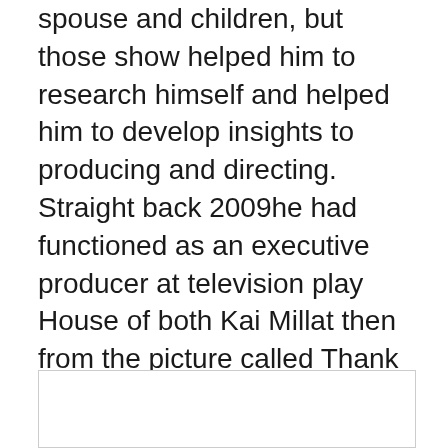spouse and children, but those show helped him to research himself and helped him to develop insights to producing and directing. Straight back 2009he had functioned as an executive producer at television play House of both Kai Millat then from the picture called Thank You. He became gifted at quite a youthful age in numerous areas. He acquired fame which he'd did. We expect he is going to be manufactured renowned in many years to come. Produced in the 8th of August Michael has been 3-6 yrs older. He it has kept that the fantastic human anatomy and seems to be handsome.